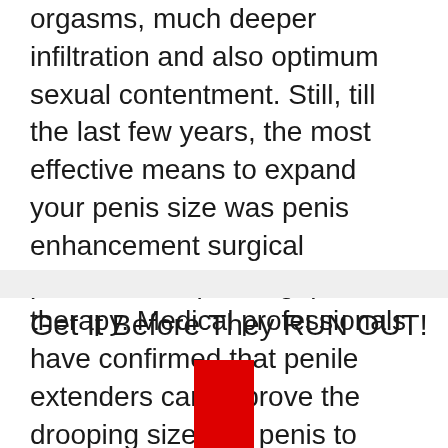orgasms, much deeper infiltration and also optimum sexual contentment. Still, till the last few years, the most effective means to expand your penis size was penis enhancement surgical procedure or penile grip therapy. Medical professionals have confirmed that penile extenders can improve the drooping size of a penis to virtually 1 inch in 6 months.
Get It Before They RUN OUT!
[Figure (illustration): A large bold red downward-pointing arrow graphic centered on the page.]